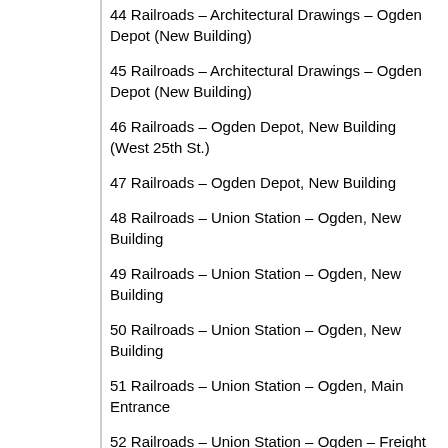44 Railroads – Architectural Drawings – Ogden Depot (New Building)
45 Railroads – Architectural Drawings – Ogden Depot (New Building)
46 Railroads – Ogden Depot, New Building (West 25th St.)
47 Railroads – Ogden Depot, New Building
48 Railroads – Union Station – Ogden, New Building
49 Railroads – Union Station – Ogden, New Building
50 Railroads – Union Station – Ogden, New Building
51 Railroads – Union Station – Ogden, Main Entrance
52 Railroads – Union Station – Ogden – Freight Yards (New Depot)
53 Railroads –Union Station – Ogden – Freight